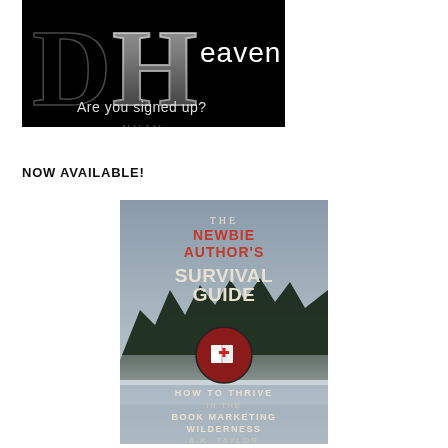[Figure (illustration): Dark banner image with large stylized 'DH' letters and text 'Heaven' and 'Are you signed up?']
NOW AVAILABLE!
[Figure (photo): Book cover: 'The Newbie Author's Survival Guide: How to Thrive in the Book Marketing Wilderness' by A.K. Taylor. Misty forest background with a red circle containing a book with a medical cross icon.]